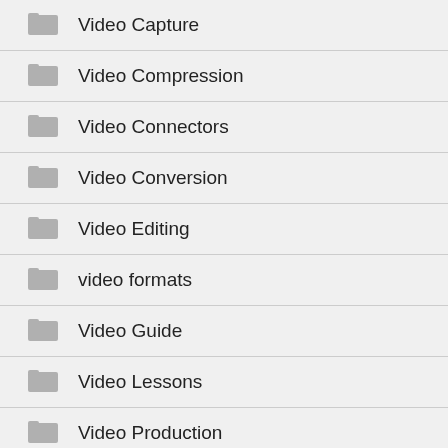Video Capture
Video Compression
Video Connectors
Video Conversion
Video Editing
video formats
Video Guide
Video Lessons
Video Production
Video Resources